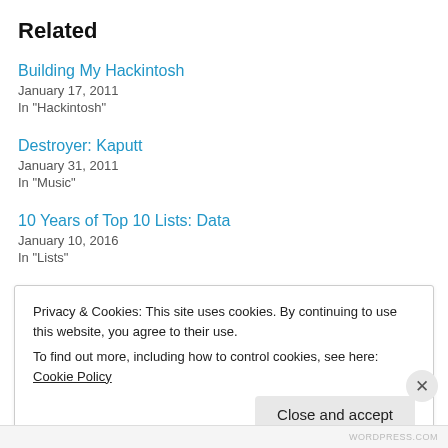Related
Building My Hackintosh
January 17, 2011
In "Hackintosh"
Destroyer: Kaputt
January 31, 2011
In "Music"
10 Years of Top 10 Lists: Data
January 10, 2016
In "Lists"
Privacy & Cookies: This site uses cookies. By continuing to use this website, you agree to their use.
To find out more, including how to control cookies, see here: Cookie Policy
Close and accept